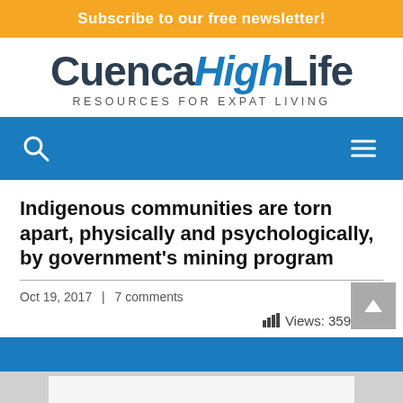Subscribe to our free newsletter!
[Figure (logo): CuencaHighLife logo with tagline RESOURCES FOR EXPAT LIVING]
[Figure (infographic): Blue navigation bar with search icon and hamburger menu]
Indigenous communities are torn apart, physically and psychologically, by government's mining program
Oct 19, 2017 | 7 comments
Views: 359